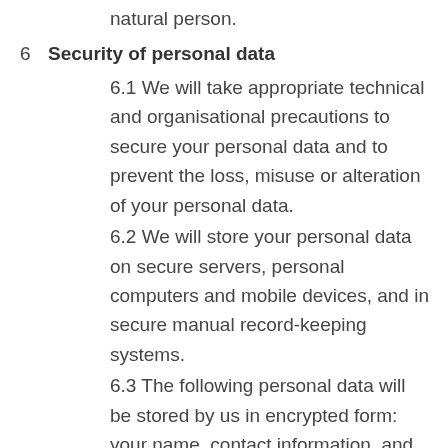natural person.
6 Security of personal data
6.1 We will take appropriate technical and organisational precautions to secure your personal data and to prevent the loss, misuse or alteration of your personal data.
6.2 We will store your personal data on secure servers, personal computers and mobile devices, and in secure manual record-keeping systems.
6.3 The following personal data will be stored by us in encrypted form: your name, contact information, and cardholder data following a purchase.
6.4 Data relating to your enquiries and financial transactions that is sent from your web browser to our web server, or from our